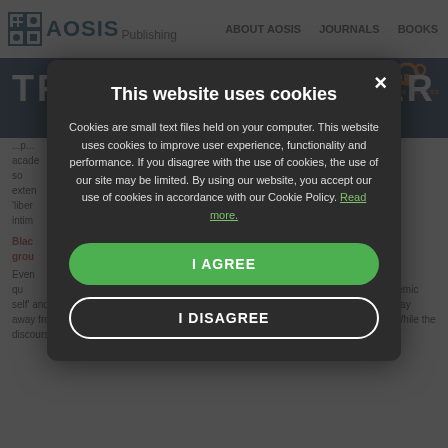AOSIS Publishing | ABOUT AOSIS | JOURNALS | BOOKS
TRA... ER ED...
...Black... academic... 1989... can be so... used to co... By exten... ple of a '... 'liber... curri... How... intim...
Black... grou...
Even... t and e... nt to qu... 'd' warin... s the concept of 'epistemic self' and 'academic identity' from the critical framework of black/African studies, which stay away from theorisation of sociological processes independent of personal experience. While the discourse around the social construction of knowledge is framed by social
This website uses cookies

Cookies are small text files held on your computer. This website uses cookies to improve user experience, functionality and performance. If you disagree with the use of cookies, the use of our site may be limited. By using our website, you accept our use of cookies in accordance with our Cookie Policy. Read more.

I AGREE

I DISAGREE